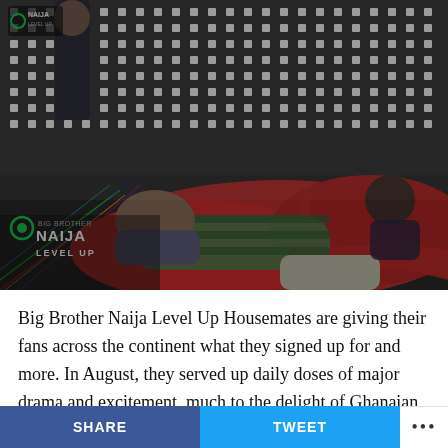[Figure (photo): Big Brother Naija Level Up house interior scene showing housemates lounging on red sofas/bean bags with a black and white polka-dot wall background. A person in a green striped shirt is lying across the sofa, others are wrapped in red blankets. The Big Brother Naija Level Up logo is visible in the bottom left corner of the image.]
Big Brother Naija Level Up Housemates are giving their fans across the continent what they signed up for and more. In August, they served up daily doses of major drama and excitement, much to the delight of Ghanaian fans on the Timeline. Highlights from the past month
SHARE   TWEET   ...